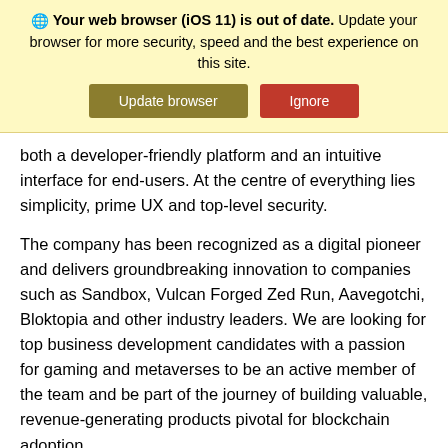[Figure (screenshot): Browser out-of-date warning banner on yellow background with 'Update browser' (dark olive) and 'Ignore' (red) buttons. Text reads: Your web browser (iOS 11) is out of date. Update your browser for more security, speed and the best experience on this site.]
both a developer-friendly platform and an intuitive interface for end-users. At the centre of everything lies simplicity, prime UX and top-level security.
The company has been recognized as a digital pioneer and delivers groundbreaking innovation to companies such as Sandbox, Vulcan Forged Zed Run, Aavegotchi, Bloktopia and other industry leaders. We are looking for top business development candidates with a passion for gaming and metaverses to be an active member of the team and be part of the journey of building valuable, revenue-generating products pivotal for blockchain adoption.
The Venly team values pro-activeness, autonomous...